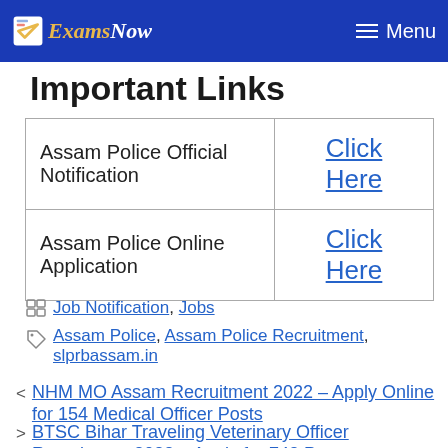ExamsNow — Menu
Important Links
| Assam Police Official Notification | Click Here |
| Assam Police Online Application | Click Here |
Categories: Job Notification, Jobs
Tags: Assam Police, Assam Police Recruitment, slprbassam.in
< NHM MO Assam Recruitment 2022 – Apply Online for 154 Medical Officer Posts
> BTSC Bihar Traveling Veterinary Officer Recruitment 2022 – Apply for 742 Posts